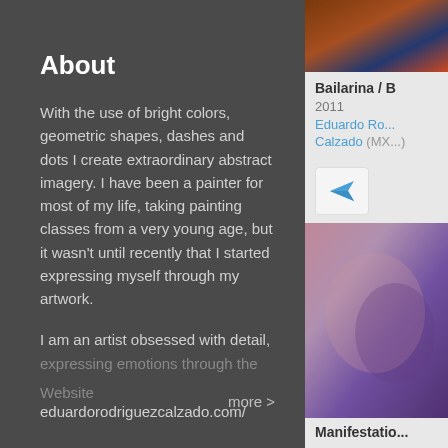About
With the use of bright colors, geometric shapes, dashes and dots I create extraordinary abstract imagery. I have been a painter for most of my life, taking painting classes from a very young age, but it wasn't until recently that I started expressing myself through my artwork.

I am an artist obsessed with detail, expressing emotions through the
more >
Website
eduardorodriguezcalzado.com/
[Figure (photo): Colorful abstract artwork thumbnail at top right]
Bailarina / B
2011
Eduardo Ro... Calzado (MX...)
[Figure (illustration): Send/share button icon with paper airplane]
[Figure (photo): Abstract textured artwork in purple and pink tones]
Manifestatio...